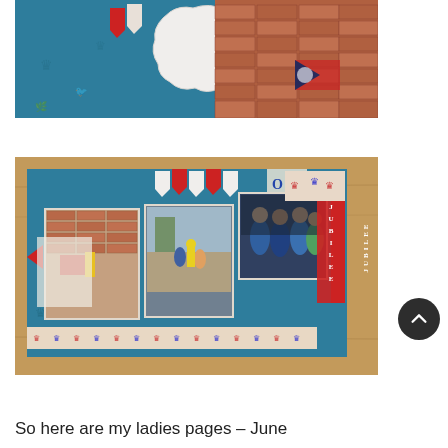[Figure (photo): Close-up of a scrapbook layout with teal/blue background paper, a white cloud-shaped photo mat, red pennant banner, and a photograph showing a brick wall with colorful imagery]
[Figure (photo): Full scrapbook layout spread photographed on a wooden table, featuring teal/blue cardstock background, multiple family photos, red and white pennant banners at top, patterned paper border at bottom, and 'JUBILEE' text strip on right side]
So here are my ladies pages – June